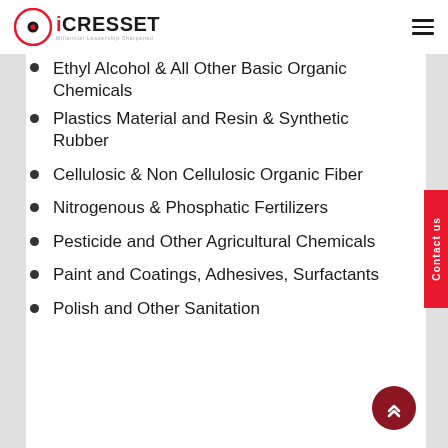iCRESSET
Ethyl Alcohol & All Other Basic Organic Chemicals
Plastics Material and Resin & Synthetic Rubber
Cellulosic & Non Cellulosic Organic Fiber
Nitrogenous & Phosphatic Fertilizers
Pesticide and Other Agricultural Chemicals
Paint and Coatings, Adhesives, Surfactants
Polish and Other Sanitation